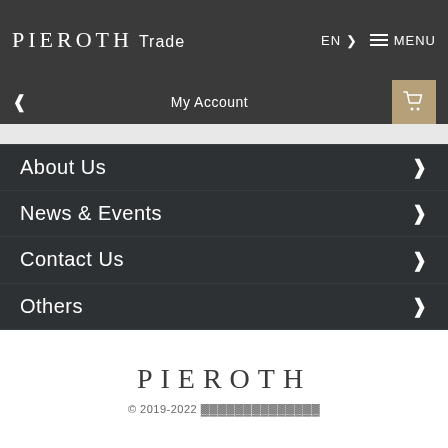PIEROTH Trade — EN | MENU
My Account
About Us
News & Events
Contact Us
Others
PIEROTH — © 2019-2022